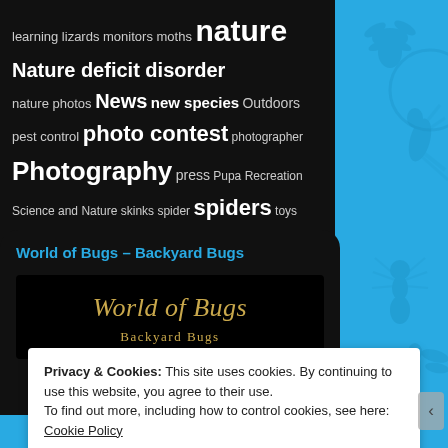[Figure (other): Blue background with illustrated bug/insect silhouette pattern]
learning lizards monitors moths nature Nature deficit disorder nature photos News new species Outdoors pest control photo contest photographer Photography press Pupa Recreation Science and Nature skinks spider spiders toys wildlife winner Winners World of Bugs
World of Bugs – Backyard Bugs
[Figure (illustration): Book cover showing 'World of Bugs – Backyard Bugs' title in gold italic serif text on black background]
Privacy & Cookies: This site uses cookies. By continuing to use this website, you agree to their use.
To find out more, including how to control cookies, see here: Cookie Policy
Close and accept